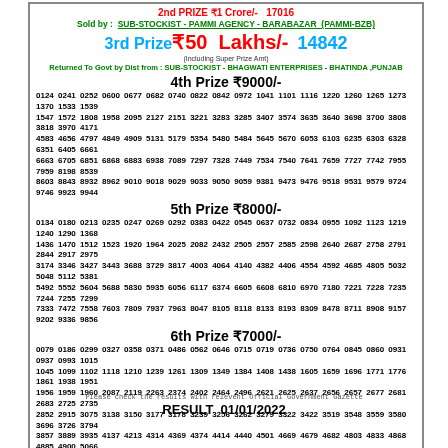2nd PRIZE ₹1 Crore/- 17016
Sold by: SUB-STOCKIST - PAMMI AGENCY - BARABAZAR (PAMMI-BZB)
3rd Prize ₹50 Lakhs/- 14842
(Including Super Prize Amt)
Returned To Govt by Dist from: SUB-STOCKIST - BHAGWATI ENTERPRISES - BHATINDA, PUNJAB
4th Prize ₹9000/-
0124 0241 0252 0600 0677 0682 0740 0822 0842 0972 1041 1101 1116 1220 1260 1265 1273 1370 1533 1539 1547 1572 1808 1958 2095 2127 2151 3221 3283 3285 3407 3574 3635 3640 3698 3700 3808 3818 3970 4171 4583 4656 4797 4849 4909 5131 5179 5354 5480 5484 5645 5670 6053 6103 6235 6303 6328 6351 6405 6661 6663 6705 6851 6868 6883 6938 7089 7297 7328 7449 7534 7540 7641 7659 7727 7742 7955 7959 8198 8539 8603 8843 8932 8962 9010 9018 9029 9033 9050 9059 9381 9473 9476 9518 9531 9579 9724 9746 9923 9944
5th Prize ₹8000/-
0134 0180 0213 0235 0247 0269 0292 0383 0422 0545 0637 0732 0834 0955 1092 1123 1219 1240 1290 1368 1436 1470 1512 1523 1920 1964 2025 2082 2432 2505 2557 2585 2598 2640 2687 2758 2791 2844 2917 2975 3174 3346 3427 3443 3688 3729 3817 4003 4064 4140 4382 4406 4554 4592 4685 4805 5032 5048 5112 5381 5492 5552 5604 5688 5830 5935 6056 6117 6374 6605 6608 6810 6970 7180 7221 7228 7235 7244 7255 7299 7333 7472 7558 7603 7809 7937 7963 8047 8105 8118 8133 8193 8309 8478 8711 8908 9157 9202 9336 9856
6th Prize ₹7000/-
0079 0186 0299 0327 0358 0371 0486 0562 0646 0715 0719 0736 0750 0764 0845 0860 0931 0937 0993 1015 1045 1099 1102 1118 1210 1239 1261 1309 1349 1384 1408 1438 1605 1659 1696 1771 1776 1861 1938 1951 1956 1959 1960 2087 2119 2263 2374 2402 2464 2496 2621 2625 2637 2656 2657 2677 2681 2683 2725 2735 2852 2915 3075 3138 3150 3177 3178 3239 3256 3262 3279 3322 3422 3519 3548 3559 3580 3696 3726 3794 3857 3889 3935 4137 4213 4314 4369 4374 4414 4440 4501 4669 4679 4682 4803 4833 4868 4885 4900 5066 5092 5169 5205 5271 5374 5423 5485 5488 5587 5608 5625 5693 5912 5976 6018 6039 6143 6223 6362 6377 6482 6487 6537 6587 6588 6628 6693 6848 6893 6898 7008 7042 7068 7080 7199 7309 7353 7378 7389 7533 7599 7612 7662 7747 7779 7854 7873 7883 7904 7927 7933 7942 7958 7990 8005 8028 8065 8074 8116 8123 8179 8243 8261 8528 8555 8592 8677 8679 8687 8724 8737 8757 8764 8801 8867 8913 8944 8964 9024 9074 9091 9115 9124 9170 9175 9204 9385 9406 9453 9483 9623 9635 9642 9718 9727 9838 9866 9900 9967 9969
Please check the results with relevent Official Government Gazette
RESULT 01/01/2022